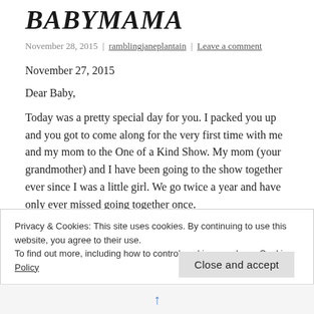BABYMAMA
November 28, 2015 | ramblingjaneplantain | Leave a comment
November 27, 2015
Dear Baby,
Today was a pretty special day for you. I packed you up and you got to come along for the very first time with me and my mom to the One of a Kind Show. My mom (your grandmother) and I have been going to the show together ever since I was a little girl. We go twice a year and have only ever missed going together once.
Privacy & Cookies: This site uses cookies. By continuing to use this website, you agree to their use.
To find out more, including how to control cookies, see here: Cookie Policy
Close and accept